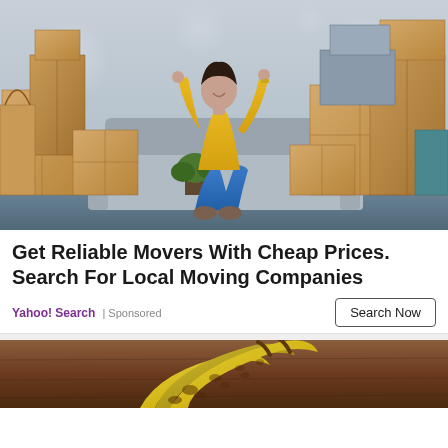[Figure (photo): Woman with arms raised celebrating, sitting on floor surrounded by moving boxes]
Get Reliable Movers With Cheap Prices. Search For Local Moving Companies
Yahoo! Search | Sponsored
Search Now
[Figure (photo): Ripe spotted bananas on a wooden table, partially visible at bottom of page]